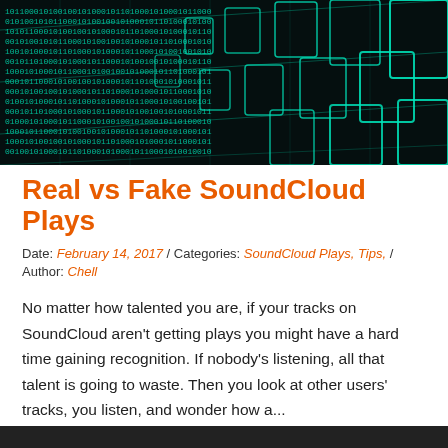[Figure (photo): Close-up of glowing cyan/teal binary code (0s and 1s) on a dark background, arranged in diagonal perspective grid pattern]
Real vs Fake SoundCloud Plays
Date: February 14, 2017 / Categories: SoundCloud Plays, Tips, / Author: Chell
No matter how talented you are, if your tracks on SoundCloud aren't getting plays you might have a hard time gaining recognition. If nobody's listening, all that talent is going to waste. Then you look at other users' tracks, you listen, and wonder how a...
Read Full Article
3